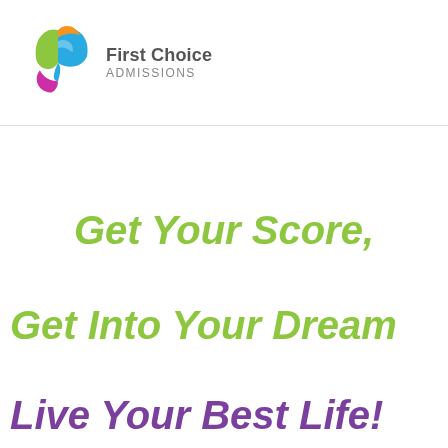[Figure (logo): First Choice Admissions logo with colorful abstract bird/arrow shape in blue, green, orange, and purple, with company name text]
Get Your Score,
Get Into Your Dream
Live Your Best Life!